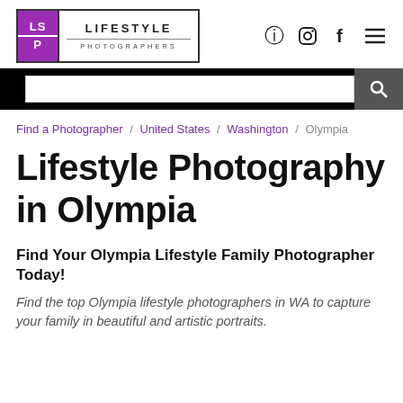[Figure (logo): Lifestyle Photographers logo: purple square with LS/P letters on left, LIFESTYLE PHOTOGRAPHERS text on right]
Instagram, Facebook, Menu icons
Find a Photographer / United States / Washington / Olympia
Lifestyle Photography in Olympia
Find Your Olympia Lifestyle Family Photographer Today!
Find the top Olympia lifestyle photographers in WA to capture your family in beautiful and artistic portraits.